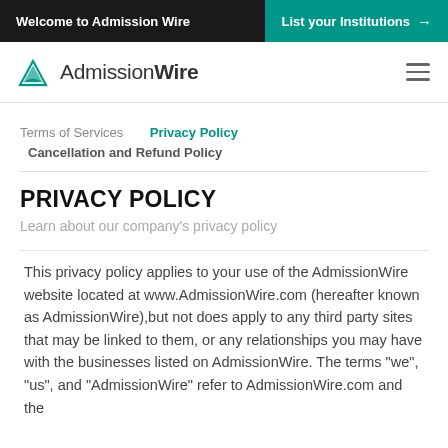Welcome to Admission Wire | List your Institutions →
[Figure (logo): AdmissionWire logo with teal triangle icon and text 'AdmissionWire']
Terms of Services    Privacy Policy
    Cancellation and Refund Policy
PRIVACY POLICY
Learn about our company's privacy policy
This privacy policy applies to your use of the AdmissionWire website located at www.AdmissionWire.com (hereafter known as AdmissionWire),but not does apply to any third party sites that may be linked to them, or any relationships you may have with the businesses listed on AdmissionWire. The terms "we", "us", and "AdmissionWire" refer to AdmissionWire.com and the